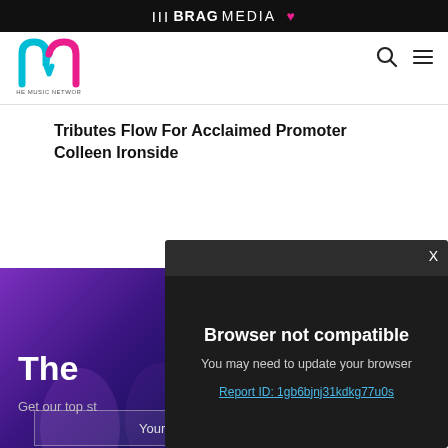THE BRAG MEDIA ♥
[Figure (logo): The Music Network (TMN) logo — stylized cyan and pink letter M with 'THE MUSIC NETWORK' text below]
Tributes Flow For Acclaimed Promoter Colleen Ironside
[Figure (photo): Dark purple/blue atmospheric background with hands raised, newsletter signup section partially visible. Text 'The' and 'Get our top st' visible.]
[Figure (screenshot): Modal dialog over page content: 'Browser not compatible — You may need to update your browser — Report ID: 1gb6bjnj31kdkg77u0s'. Dark background with close X button in top-right corner.]
Your email...